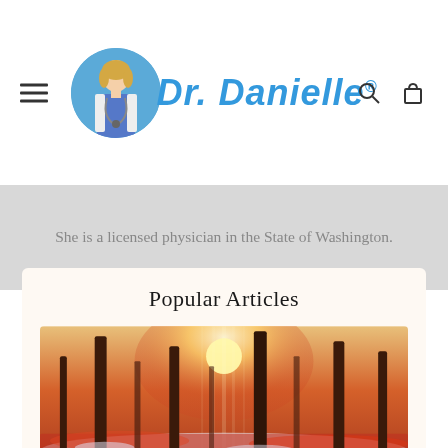[Figure (logo): Dr. Danielle logo with doctor portrait in blue circle and cursive blue text]
She is a licensed physician in the State of Washington.
Popular Articles
[Figure (photo): Winter forest scene with snow on ground, red fallen leaves, tall trees, and sunlight streaming through]